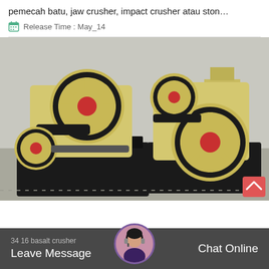pemecah batu, jaw crusher, impact crusher atau ston…
Release Time : May_14
[Figure (photo): Multiple yellow jaw crusher machines with red and black flywheel pulleys lined up in a factory/warehouse setting]
34 16 basalt crusher
Leave Message
Chat Online